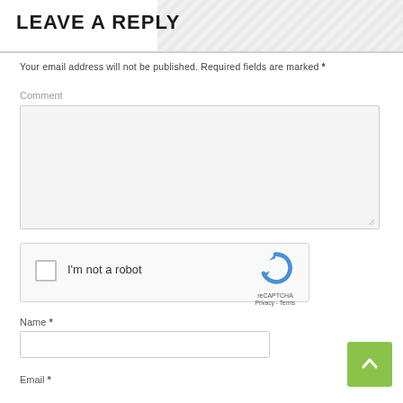LEAVE A REPLY
Your email address will not be published. Required fields are marked *
Comment
[Figure (screenshot): Empty comment textarea input box with light grey background and resize handle]
[Figure (screenshot): reCAPTCHA widget with checkbox 'I'm not a robot' and reCAPTCHA logo]
Name *
[Figure (screenshot): Name text input field]
Email *